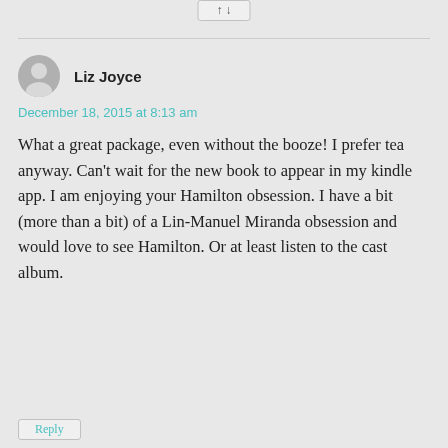Liz Joyce
December 18, 2015 at 8:13 am
What a great package, even without the booze! I prefer tea anyway. Can't wait for the new book to appear in my kindle app. I am enjoying your Hamilton obsession. I have a bit (more than a bit) of a Lin-Manuel Miranda obsession and would love to see Hamilton. Or at least listen to the cast album.
Reply